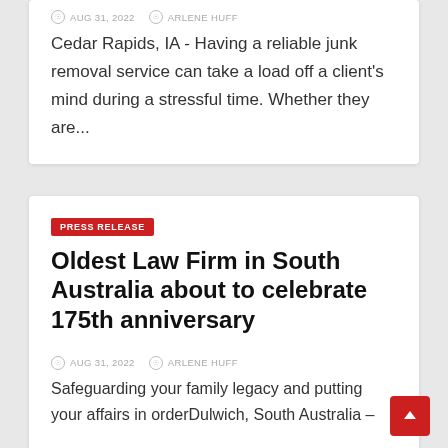AUG 31, 2022   ARLENE HUFF
Cedar Rapids, IA - Having a reliable junk removal service can take a load off a client's mind during a stressful time. Whether they are...
PRESS RELEASE
Oldest Law Firm in South Australia about to celebrate 175th anniversary
AUG 31, 2022   ARLENE HUFF
Safeguarding your family legacy and putting your affairs in orderDulwich, South Australia –